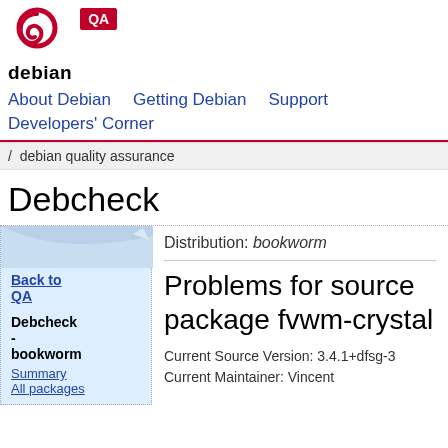debian QA
About Debian   Getting Debian   Support   Developers' Corner
/ debian quality assurance
Debcheck
Distribution: bookworm
Problems for source package fvwm-crystal
Back to QA
Debcheck - bookworm
Summary
All packages
Current Source Version: 3.4.1+dfsg-3
Current Maintainer: Vincent